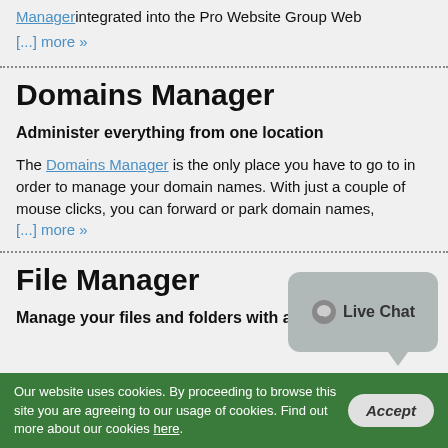Manager integrated into the Pro Website Group Web [...] more »
Domains Manager
Administer everything from one location
The Domains Manager is the only place you have to go to in order to manage your domain names. With just a couple of mouse clicks, you can forward or park domain names, [...] more »
File Manager
Manage your files and folders with a click of the
[Figure (other): Live Chat speech bubble widget with chat icon]
Our website uses cookies. By proceeding to browse this site you are agreeing to our usage of cookies. Find out more about our cookies here.